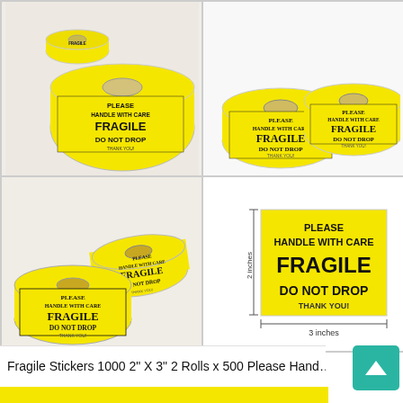[Figure (photo): Product photo grid showing 4 images of yellow FRAGILE stickers on rolls. Top-left: single roll with yellow fragile sticker close-up. Top-right: two rolls of yellow fragile stickers side by side. Bottom-left: two rolls of yellow fragile stickers at angle. Bottom-right: single flat sticker label showing dimensions: 2 inches x 3 inches, with text PLEASE HANDLE WITH CARE FRAGILE DO NOT DROP THANK YOU! on yellow background.]
Fragile Stickers 1000 2" X 3" 2 Rolls x 500 Please Hand…